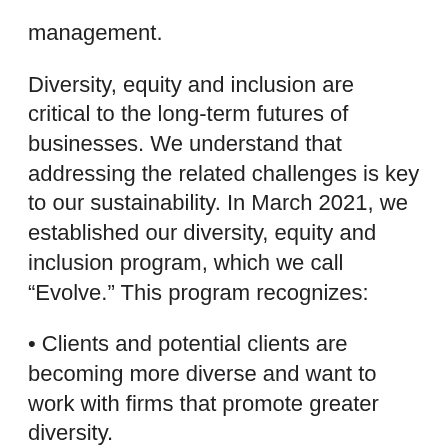management.
Diversity, equity and inclusion are critical to the long-term futures of businesses. We understand that addressing the related challenges is key to our sustainability. In March 2021, we established our diversity, equity and inclusion program, which we call “Evolve.” This program recognizes:
Clients and potential clients are becoming more diverse and want to work with firms that promote greater diversity.
Clients and potential clients are